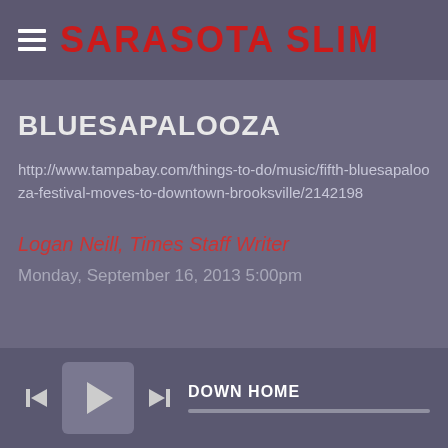SARASOTA SLIM
BLUESAPALOOZA
http://www.tampabay.com/things-to-do/music/fifth-bluesapalooza-festival-moves-to-downtown-brooksville/2142198
Logan Neill, Times Staff Writer
Monday, September 16, 2013 5:00pm
DOWN HOME